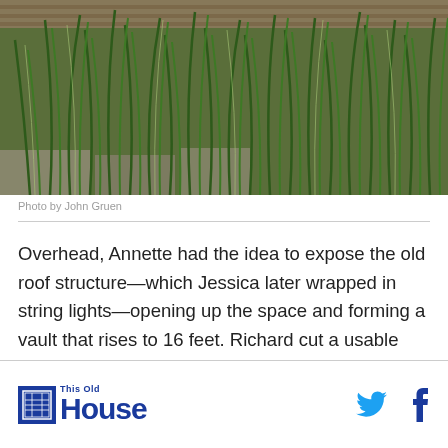[Figure (photo): A close-up photograph of tall green grass and plants growing near a weathered wooden deck or boardwalk, photographed by John Gruen.]
Photo by John Gruen
Overhead, Annette had the idea to expose the old roof structure—which Jessica later wrapped in string lights—opening up the space and forming a vault that rises to 16 feet. Richard cut a usable length from the foundation beam he had removed to reuse as a support post in the open plan.
This Old House | Twitter | Facebook